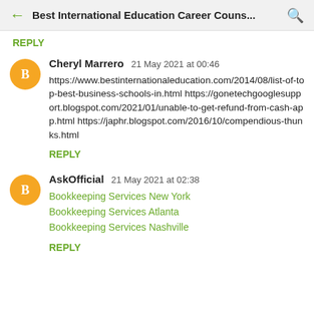Best International Education Career Couns...
REPLY
Cheryl Marrero  21 May 2021 at 00:46
https://www.bestinternationaleducation.com/2014/08/list-of-top-best-business-schools-in.html https://gonetechgooglesupport.blogspot.com/2021/01/unable-to-get-refund-from-cash-app.html https://japhr.blogspot.com/2016/10/compendious-thunks.html
REPLY
AskOfficial  21 May 2021 at 02:38
Bookkeeping Services New York
Bookkeeping Services Atlanta
Bookkeeping Services Nashville
REPLY